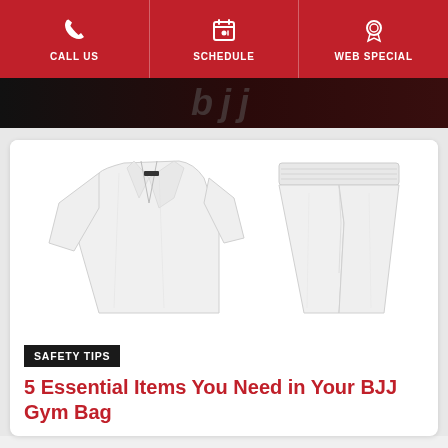CALL US | SCHEDULE | WEB SPECIAL
[Figure (photo): Dark banner strip with 'bjj' text watermark]
[Figure (photo): White Brazilian Jiu-Jitsu gi jacket and pants on white background]
SAFETY TIPS
5 Essential Items You Need in Your BJJ Gym Bag